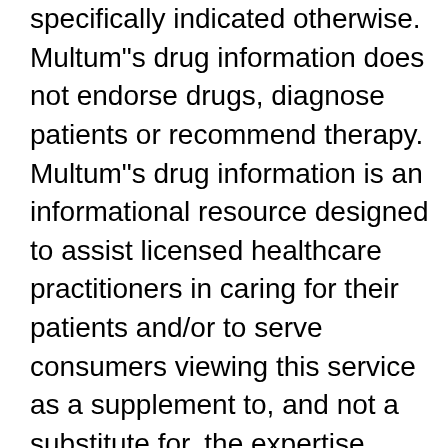specifically indicated otherwise. Multum"s drug information does not endorse drugs, diagnose patients or recommend therapy. Multum"s drug information is an informational resource designed to assist licensed healthcare practitioners in caring for their patients and/or to serve consumers viewing this service as a supplement to, and not a substitute for, the expertise, skill, knowledge and judgment of healthcare practitioners. The absence of a warning for a given drug or drug combination in no way should be construed to indicate that the drug or drug combination is safe, effective or appropriate for any given patient. Multum does not assume any responsibility for any aspect of healthcare administered with the aid of information Multum provides. The information contained herein is not intended to cover all possible uses, directions, precautions, warnings, drug interactions, allergic reactions, or adverse effects. If you have questions